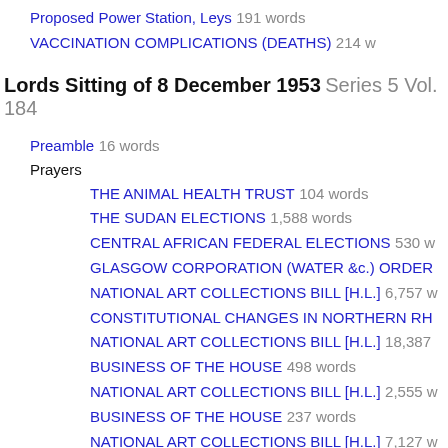Proposed Power Station, Leys 191 words
VACCINATION COMPLICATIONS (DEATHS) 214 words
Lords Sitting of 8 December 1953 Series 5 Vol. 184
Preamble 16 words
Prayers
THE ANIMAL HEALTH TRUST 104 words
THE SUDAN ELECTIONS 1,588 words
CENTRAL AFRICAN FEDERAL ELECTIONS 530 words
GLASGOW CORPORATION (WATER &c.) ORDER
NATIONAL ART COLLECTIONS BILL [H.L.] 6,757 words
CONSTITUTIONAL CHANGES IN NORTHERN RH
NATIONAL ART COLLECTIONS BILL [H.L.] 18,387 words
BUSINESS OF THE HOUSE 498 words
NATIONAL ART COLLECTIONS BILL [H.L.] 2,555 words
BUSINESS OF THE HOUSE 237 words
NATIONAL ART COLLECTIONS BILL [H.L.] 7,127 words
FOOD AND DRUGS AMENDMENT BILL [H.L.] 42 words
EXPIRING LAWS CONTINUANCE BILL 753 words